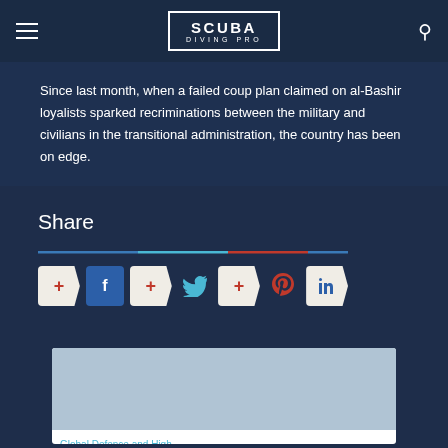SCUBA DIVING PRO
the nation, demanding that the transitional military council hand over authority to the civilian administration.
Since last month, when a failed coup plan claimed on al-Bashir loyalists sparked recriminations between the military and civilians in the transitional administration, the country has been on edge.
Share
[Figure (infographic): Social share buttons for Facebook, Twitter, Pinterest, and LinkedIn with colored divider line]
[Figure (photo): Thumbnail card with gray image area and teal article title link at bottom]